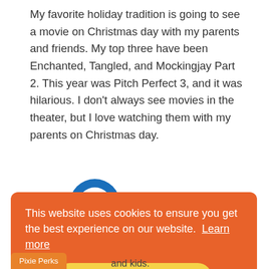My favorite holiday tradition is going to see a movie on Christmas day with my parents and friends. My top three have been Enchanted, Tangled, and Mockingjay Part 2. This year was Pitch Perfect 3, and it was hilarious. I don't always see movies in the theater, but I love watching them with my parents on Christmas day.
[Figure (logo): Blue circular Diners Club International logo]
This website uses cookies to ensure you get the best experience on our website.  Learn more
Got it!
Pixie Perks
and kids.